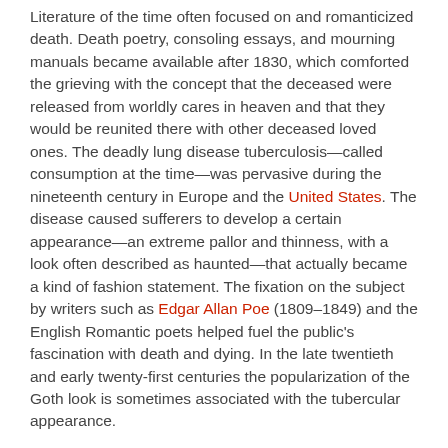Literature of the time often focused on and romanticized death. Death poetry, consoling essays, and mourning manuals became available after 1830, which comforted the grieving with the concept that the deceased were released from worldly cares in heaven and that they would be reunited there with other deceased loved ones. The deadly lung disease tuberculosis—called consumption at the time—was pervasive during the nineteenth century in Europe and the United States. The disease caused sufferers to develop a certain appearance—an extreme pallor and thinness, with a look often described as haunted—that actually became a kind of fashion statement. The fixation on the subject by writers such as Edgar Allan Poe (1809–1849) and the English Romantic poets helped fuel the public's fascination with death and dying. In the late twentieth and early twenty-first centuries the popularization of the Goth look is sometimes associated with the tubercular appearance.